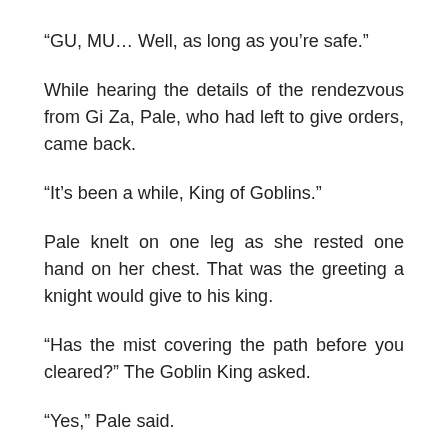“GU, MU… Well, as long as you’re safe.”
While hearing the details of the rendezvous from Gi Za, Pale, who had left to give orders, came back.
“It’s been a while, King of Goblins.”
Pale knelt on one leg as she rested one hand on her chest. That was the greeting a knight would give to his king.
“Has the mist covering the path before you cleared?” The Goblin King asked.
“Yes,” Pale said.
The Goblin King gazed intently at Pale, and Pale did not